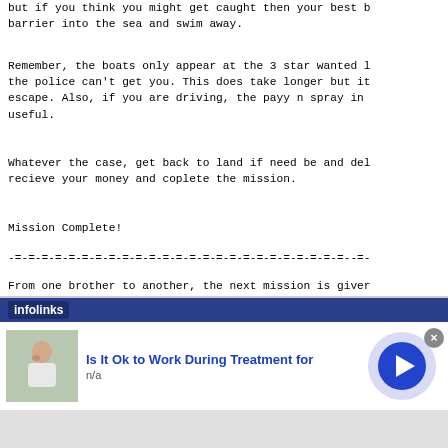but if you think you might get caught then your best b
barrier into the sea and swim away.
Remember, the boats only appear at the 3 star wanted l
the police can't get you. This does take longer but it
escape. Also, if you are driving, the payy n spray in
useful.
Whatever the case, get back to land if need be and del
recieve your money and coplete the mission.
Mission Complete!
-=-=-=-=-=-=-=-=-=-=-=-=-=-=-=-=-=-=-=-=-=-=-=-=-=--=-
From one brother to another, the next mission is giver
and it isn't a easy one.
-=-=-=-=-=-=-=-=-=-=-=-=-=-=-=-=-=-=-=-=-=-=-=-=-=--=-
o--------------------o
[Figure (other): Infolinks advertisement overlay showing 'Is It Ok to Work During Treatment for' with n/a source, featuring an image of a person and a blue arrow button]